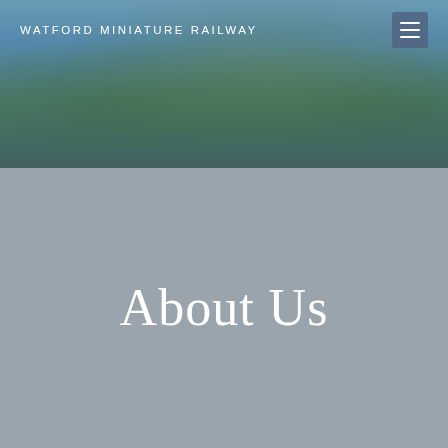WATFORD MINIATURE RAILWAY
[Figure (photo): Hero banner photograph showing blue sky with dark green trees, used as background for the Watford Miniature Railway website header]
About Us